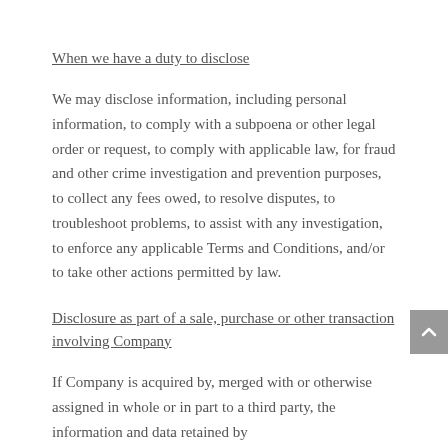When we have a duty to disclose
We may disclose information, including personal information, to comply with a subpoena or other legal order or request, to comply with applicable law, for fraud and other crime investigation and prevention purposes, to collect any fees owed, to resolve disputes, to troubleshoot problems, to assist with any investigation, to enforce any applicable Terms and Conditions, and/or to take other actions permitted by law.
Disclosure as part of a sale, purchase or other transaction involving Company
If Company is acquired by, merged with or otherwise assigned in whole or in part to a third party, the information and data retained by